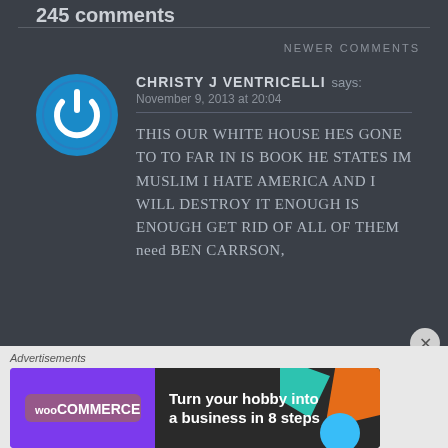245 comments
NEWER COMMENTS
CHRISTY J VENTRICELLI says:
November 9, 2013 at 20:04
THIS OUR WHITE HOUSE HES GONE TO TO FAR IN IS BOOK HE STATES IM MUSLIM I HATE AMERICA AND I WILL DESTROY IT ENOUGH IS ENOUGH GET RID OF ALL OF THEM need BEN CARRSON,
[Figure (other): WooCommerce advertisement banner: Turn your hobby into a business in 8 steps]
Advertisements